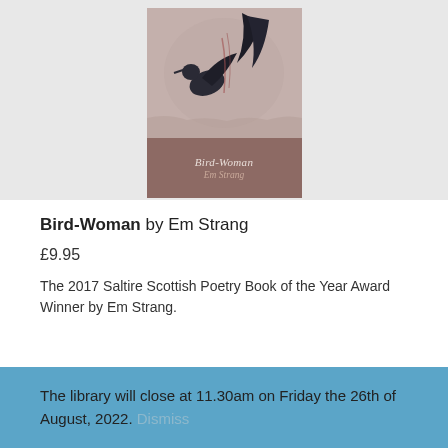[Figure (illustration): Book cover of Bird-Woman by Em Strang showing a dark bird and leaf/wing motif artwork on a muted background, with title text on a brown lower panel]
Bird-Woman by Em Strang
£9.95
The 2017 Saltire Scottish Poetry Book of the Year Award Winner by Em Strang.
The library will close at 11.30am on Friday the 26th of August, 2022. Dismiss